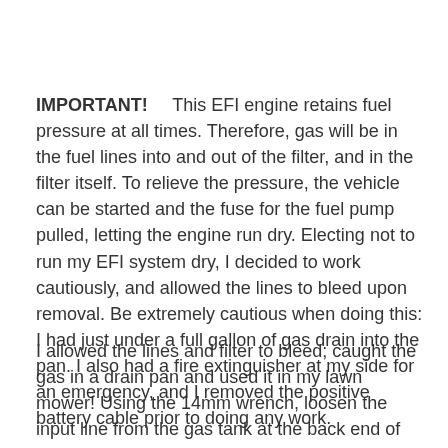IMPORTANT! This EFI engine retains fuel pressure at all times. Therefore, gas will be in the fuel lines into and out of the filter, and in the filter itself. To relieve the pressure, the vehicle can be started and the fuse for the fuel pump pulled, letting the engine run dry. Electing not to run my EFI system dry, I decided to work cautiously, and allowed the lines to bleed upon removal. Be extremely cautious when doing this: I had just under a full gallon of gas drain into the pan. I also had a fire extinguisher at my side for an emergency, and I removed the positive battery cable prior to doing any work.
I allowed the lines and filter to bleed; caught the gas in a drain pan and used it in my lawn mower! Using the 14mm wrench, loosen the input line from the gas tank at the back end of the filter. This line is